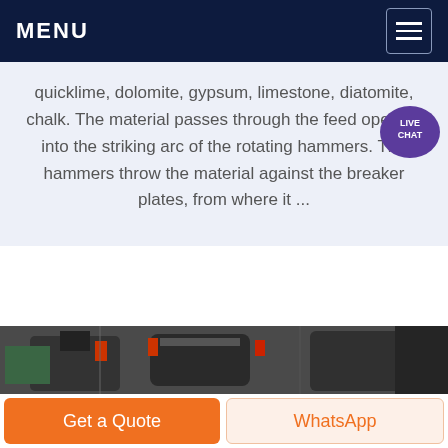MENU
quicklime, dolomite, gypsum, limestone, diatomite, chalk. The material passes through the feed opening into the striking arc of the rotating hammers. The hammers throw the material against the breaker plates, from where it ...
[Figure (photo): Industrial hammer mill / crusher machinery in a factory setting, showing heavy metal grinding equipment with red accents]
Get a Quote
WhatsApp